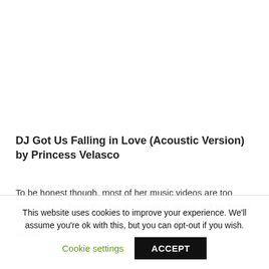DJ Got Us Falling in Love (Acoustic Version) by Princess Velasco
To be honest though, most of her music videos are too simple. I just hope that her succeeding videos will be better. Why not add extra story into it? Just found out that the videos
This website uses cookies to improve your experience. We'll assume you're ok with this, but you can opt-out if you wish.
Cookie settings
ACCEPT